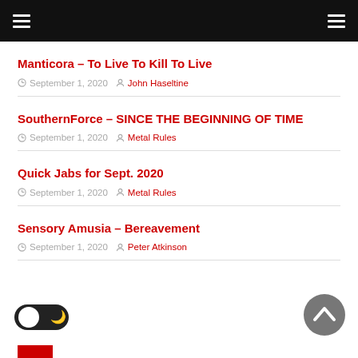Navigation header with hamburger menus
Manticora – To Live To Kill To Live
September 1, 2020   John Haseltine
SouthernForce – SINCE THE BEGINNING OF TIME
September 1, 2020   Metal Rules
Quick Jabs for Sept. 2020
September 1, 2020   Metal Rules
Sensory Amusia – Bereavement
September 1, 2020   Peter Atkinson